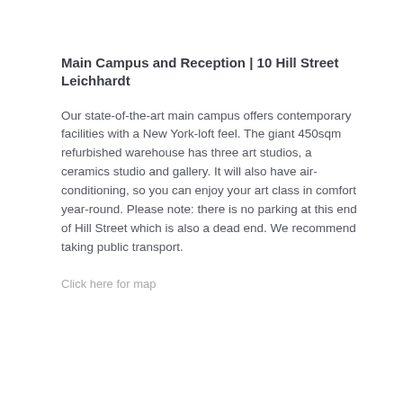Main Campus and Reception | 10 Hill Street Leichhardt
Our state-of-the-art main campus offers contemporary facilities with a New York-loft feel. The giant 450sqm refurbished warehouse has three art studios, a ceramics studio and gallery. It will also have air-conditioning, so you can enjoy your art class in comfort year-round. Please note: there is no parking at this end of Hill Street which is also a dead end. We recommend taking public transport.
Click here for map